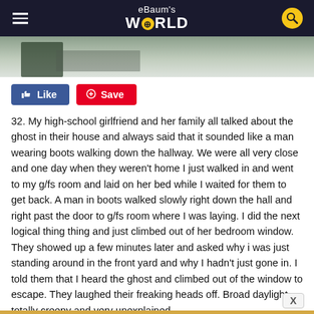eBaum's WORLD
[Figure (photo): Partial photo strip showing outdoor scene with figure and bicycle-like object, muted tones]
Like  Save
32. My high-school girlfriend and her family all talked about the ghost in their house and always said that it sounded like a man wearing boots walking down the hallway. We were all very close and one day when they weren't home I just walked in and went to my g/fs room and laid on her bed while I waited for them to get back. A man in boots walked slowly right down the hall and right past the door to g/fs room where I was laying. I did the next logical thing thing and just climbed out of her bedroom window. They showed up a few minutes later and asked why i was just standing around in the front yard and why I hadn't just gone in. I told them that I heard the ghost and climbed out of the window to escape. They laughed their freaking heads off. Broad daylight totally creepy and very unexplained